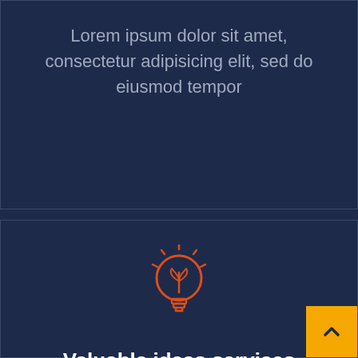Lorem ipsum dolor sit amet, consectetur adipisicing elit, sed do eiusmod tempor
[Figure (illustration): Orange outlined lightbulb icon with a plant/leaf inside, radiating lines at top, on dark navy background]
Valuable ideas services
Nemo enim ipsam voluptatem quia voluptas sit aspernatur aut odit aut fugit